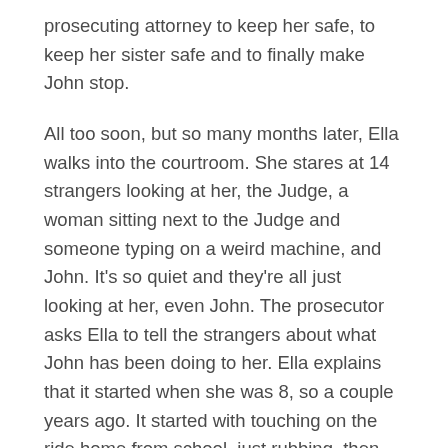prosecuting attorney to keep her safe, to keep her sister safe and to finally make John stop.
All too soon, but so many months later, Ella walks into the courtroom. She stares at 14 strangers looking at her, the Judge, a woman sitting next to the Judge and someone typing on a weird machine, and John. It's so quiet and they're all just looking at her, even John. The prosecutor asks Ella to tell the strangers about what John has been doing to her. Ella explains that it started when she was 8, so a couple years ago. It started with touching on the ride home from school, just rubbing, then over her underwear, then under her underwear and then finally his penis in her mouth. When Ella is finished explaining what would happen on Tuesday's, John's Attorney started asking questions.